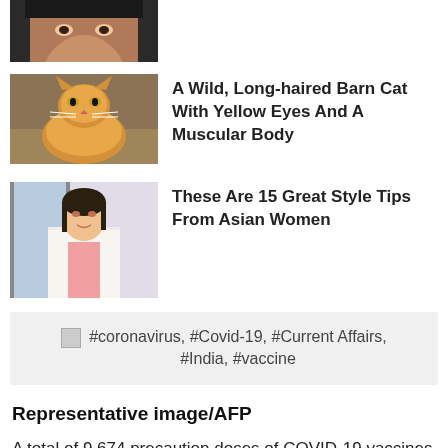[Figure (photo): Partial view of a woman's face, cropped at top of page]
[Figure (photo): A wild, long-haired orange barn cat with yellow eyes lying down]
A Wild, Long-haired Barn Cat With Yellow Eyes And A Muscular Body
[Figure (photo): A young Asian woman in a white embroidered jacket standing near a window]
These Are 15 Great Style Tips From Asian Women
#coronavirus, #Covid-19, #Current Affairs, #India, #vaccine
Representative image/AFP
A total of 9,674 precaution doses of COVID-19 vaccines were administered in the 18-59 years